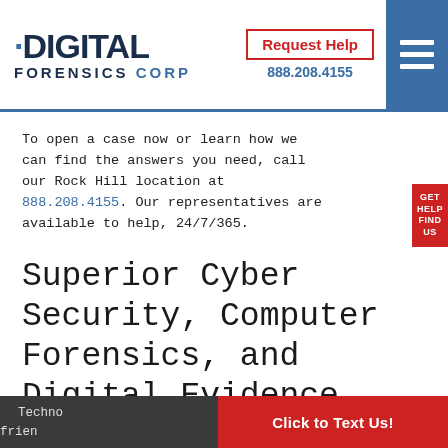DIGITAL FORENSICS CORP | Request Help | 888.208.4155
To open a case now or learn how we can find the answers you need, call our Rock Hill location at 888.208.4155. Our representatives are available to help, 24/7/365.
Superior Cyber Security, Computer Forensics, and Digital Evidence Services in Columbia, SC
Techno... friend...
Click to Text Us!